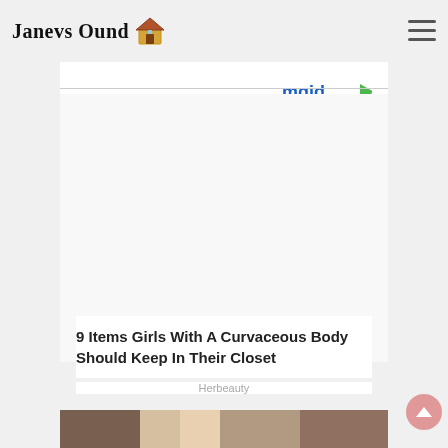Janevs Ound 🏠
[Figure (logo): mgid logo with play button icon]
9 Items Girls With A Curvaceous Body Should Keep In Their Closet
Herbeauty
[Figure (photo): Photo of a blond man with surprised expression in an indoor setting]